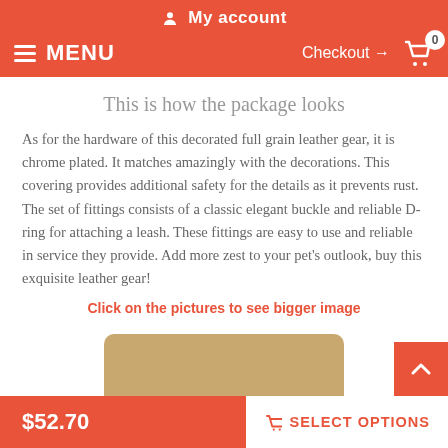My account
MENU  Checkout → 0
This is how the package looks
As for the hardware of this decorated full grain leather gear, it is chrome plated. It matches amazingly with the decorations. This covering provides additional safety for the details as it prevents rust. The set of fittings consists of a classic elegant buckle and reliable D-ring for attaching a leash. These fittings are easy to use and reliable in service they provide. Add more zest to your pet's outlook, buy this exquisite leather gear!
Click on the pictures to see bigger image
[Figure (photo): Tan/beige leather product package shown partially at the bottom of the page]
$52.70  SELECT OPTIONS